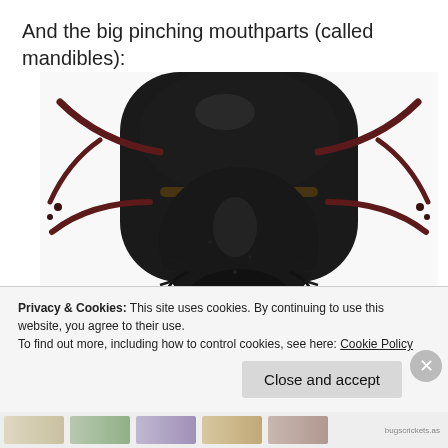And the big pinching mouthparts (called mandibles):
[Figure (photo): Close-up macro photograph of an insect (likely a large beetle or earwig) viewed from above, showing its dark black body, large mandibles at the bottom, reddish-brown legs extending to the sides, and antennae extending forward. The insect is on a white background.]
Privacy & Cookies: This site uses cookies. By continuing to use this website, you agree to their use.
To find out more, including how to control cookies, see here: Cookie Policy
Close and accept